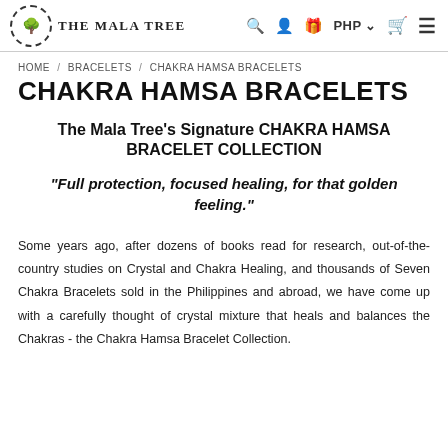The Mala Tree — Navigation bar with logo, search, account, gift, PHP currency selector, cart, and menu icons
HOME / BRACELETS / CHAKRA HAMSA BRACELETS
CHAKRA HAMSA BRACELETS
The Mala Tree's Signature CHAKRA HAMSA BRACELET COLLECTION
“Full protection, focused healing, for that golden feeling.”
Some years ago, after dozens of books read for research, out-of-the-country studies on Crystal and Chakra Healing, and thousands of Seven Chakra Bracelets sold in the Philippines and abroad, we have come up with a carefully thought of crystal mixture that heals and balances the Chakras - the Chakra Hamsa Bracelet Collection.